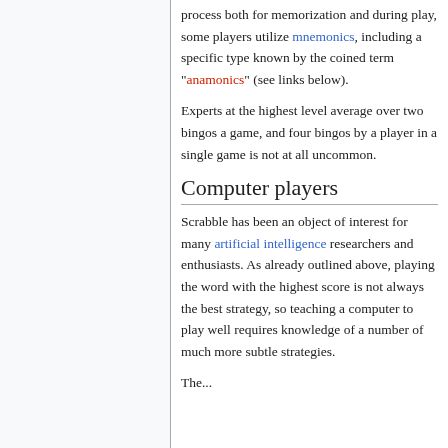process both for memorization and during play, some players utilize mnemonics, including a specific type known by the coined term "anamonics" (see links below).
Experts at the highest level average over two bingos a game, and four bingos by a player in a single game is not at all uncommon.
Computer players
Scrabble has been an object of interest for many artificial intelligence researchers and enthusiasts. As already outlined above, playing the word with the highest score is not always the best strategy, so teaching a computer to play well requires knowledge of a number of much more subtle strategies.